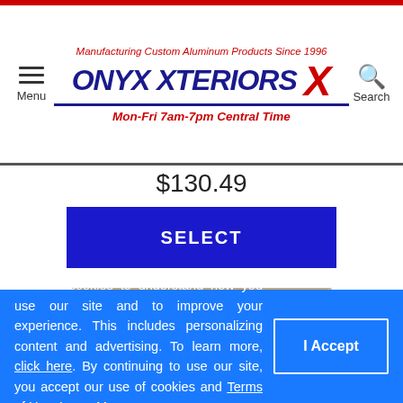[Figure (screenshot): Onyx Xteriors website header with logo showing 'ONYX XTERIORS X', tagline 'Manufacturing Custom Aluminum Products Since 1996', hours 'Mon-Fri 7am-7pm Central Time', menu hamburger icon and search icon]
$130.49
SELECT
[Figure (illustration): Beige/tan envelope illustration]
We use cookies to understand how you use our site and to improve your experience. This includes personalizing content and advertising. To learn more, click here. By continuing to use our site, you accept our use of cookies and Terms of Use. Learn More
I Accept